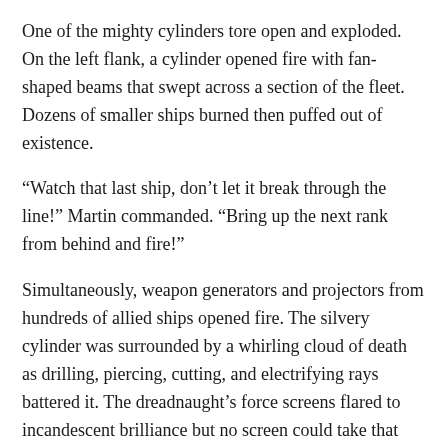One of the mighty cylinders tore open and exploded. On the left flank, a cylinder opened fire with fan-shaped beams that swept across a section of the fleet. Dozens of smaller ships burned then puffed out of existence.
“Watch that last ship, don’t let it break through the line!” Martin commanded. “Bring up the next rank from behind and fire!”
Simultaneously, weapon generators and projectors from hundreds of allied ships opened fire. The silvery cylinder was surrounded by a whirling cloud of death as drilling, piercing, cutting, and electrifying rays battered it. The dreadnaught’s force screens flared to incandescent brilliance but no screen could take that deadly fusillade for long. The ship’s protective field flashed into the ultraviolent then collapsed. The dreadnaught’s protruding weaponry was seared away, melted as if made of wax. Great slashing wounds appeared in its sides.